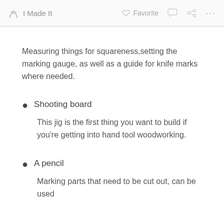I Made It  Favorite
Measuring things for squareness,setting the marking gauge, as well as a guide for knife marks where needed.
Shooting board
This jig is the first thing you want to build if you're getting into hand tool woodworking.
A pencil
Marking parts that need to be cut out, can be used